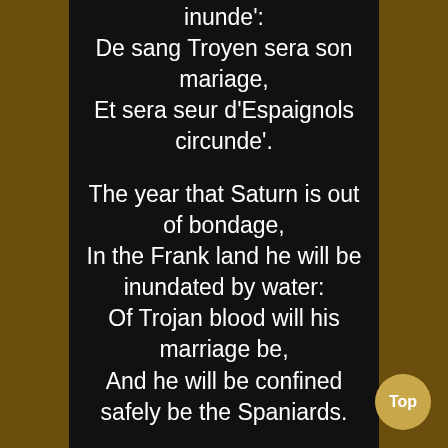inunde':
De sang Troyen sera son mariage,
Et sera seur d'Espaignols circunde'.
The year that Saturn is out of bondage,
In the Frank land he will be inundated by water:
Of Trojan blood will his marriage be,
And he will be confined safely be the Spaniards.
Quatrain 5,88